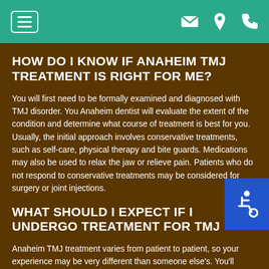Navigation header with menu, email, location, and phone icons
HOW DO I KNOW IF ANAHEIM TMJ TREATMENT IS RIGHT FOR ME?
You will first need to be formally examined and diagnosed with TMJ disorder. You Anaheim dentist will evaluate the extent of the condition and determine what course of treatment is best for you. Usually, the initial approach involves conservative treatments, such as self-care, physical therapy and bite guards. Medications may also be used to relax the jaw or relieve pain. Patients who do not respond to conservative treatments may be considered for surgery or joint injections.
WHAT SHOULD I EXPECT IF I UNDERGO TREATMENT FOR TMJ
Anaheim TMJ treatment varies from patient to patient, so your experience may be very different than someone else's. You'll probably be asked to adopt certain lifestyle changes to help facilitate rehabilitation in your jaw. For example, you may be asked to avoid sudden jaw movements, such as yelling or yawning. You